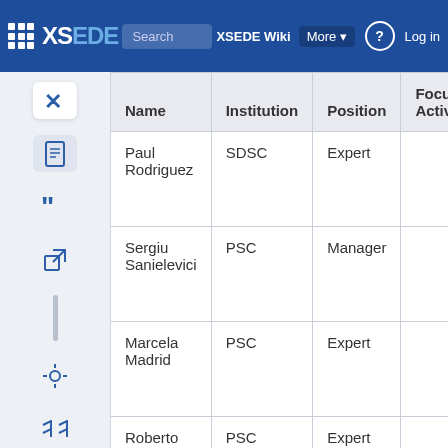XSEDE Wiki — Search XSEDE Wiki — More — Log in
| Name | Institution | Position | Focus of Activities |
| --- | --- | --- | --- |
| Paul Rodriguez | SDSC | Expert |  |
| Sergiu Sanielevici | PSC | Manager |  |
| Marcela Madrid | PSC | Expert |  |
| Roberto Gomez | PSC | Expert |  |
| Davide Del Vento | NCAR | Expert |  |